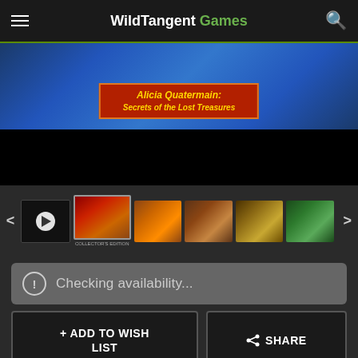WildTangent Games
[Figure (screenshot): Alicia Quatermain: Secrets of the Lost Treasures game banner with illustrated characters and red ribbon title graphic, below which is a black video player area]
[Figure (screenshot): Row of game screenshot thumbnails: video thumbnail with play button, selected game cover thumbnail, and four colorful screenshot thumbnails, with left/right navigation arrows]
Checking availability...
+ ADD TO WISH LIST
< SHARE